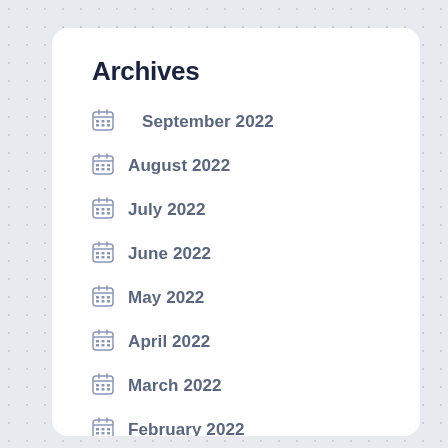Archives
September 2022
August 2022
July 2022
June 2022
May 2022
April 2022
March 2022
February 2022
January 2022
December 2021